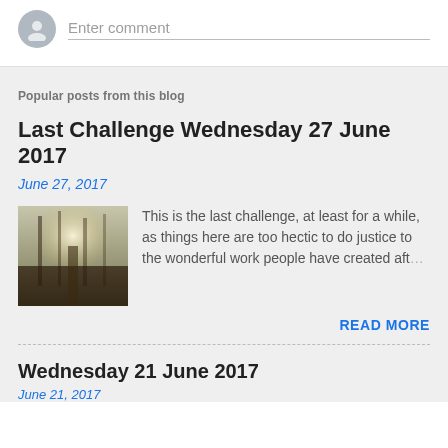[Figure (illustration): User avatar icon (grey silhouette circle)]
Enter comment
Popular posts from this blog
Last Challenge Wednesday 27 June 2017
June 27, 2017
[Figure (photo): Misty forest path with sunlight filtering through trees]
This is the last challenge, at least for a while, as things here are too hectic to do justice to the wonderful work people have created aft…
READ MORE
Wednesday 21 June 2017
June 21, 2017